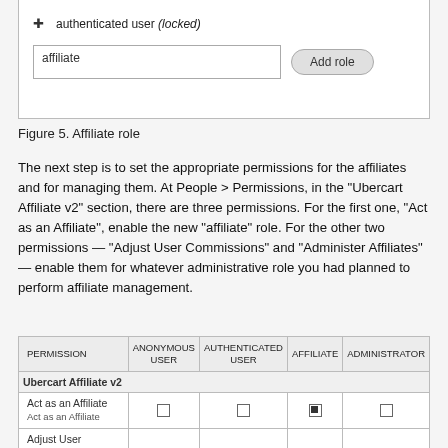[Figure (screenshot): UI mockup showing a role assignment area with a cross/move icon, 'authenticated user (locked)' text, a text input field containing 'affiliate', and an 'Add role' button with rounded styling.]
Figure 5. Affiliate role
The next step is to set the appropriate permissions for the affiliates and for managing them. At People > Permissions, in the "Ubercart Affiliate v2" section, there are three permissions. For the first one, "Act as an Affiliate", enable the new "affiliate" role. For the other two permissions — "Adjust User Commissions" and "Administer Affiliates" — enable them for whatever administrative role you had planned to perform affiliate management.
| PERMISSION | ANONYMOUS USER | AUTHENTICATED USER | AFFILIATE | ADMINISTRATOR |
| --- | --- | --- | --- | --- |
| Ubercart Affiliate v2 |  |  |  |  |
| Act as an Affiliate
Act as an Affiliate | ☐ | ☐ | ☑ | ☐ |
| Adjust User Commissions
Adjust User Commissions | ☐ | ☐ | ☐ | ☑ |
| Administer Affiliates |  |  |  |  |